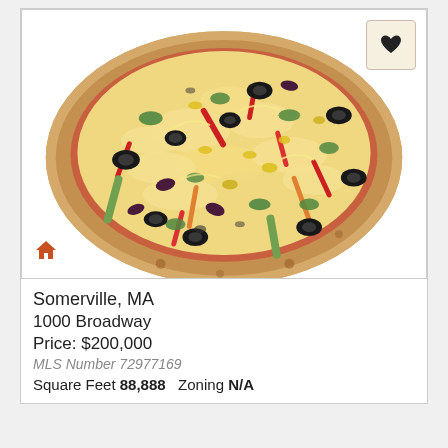[Figure (photo): A large round pizza with many toppings including black olives, green peppers, red peppers, yellow peppers, red onions, and melted mozzarella cheese on a white background.]
Somerville, MA
1000 Broadway
Price: $200,000
MLS Number 72977169
Square Feet 88,888   Zoning N/A